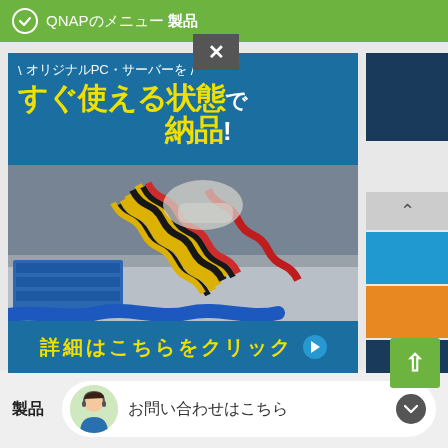QNAPのメニュー 製品
[Figure (screenshot): QNAP website banner showing server PC advertisement with Japanese text: オリジナルPC・サーバーを すぐ使える状態で 納品! with photo of server internals with cables, and 詳細はこちらをクリック button]
製品 お問い合わせはこちら